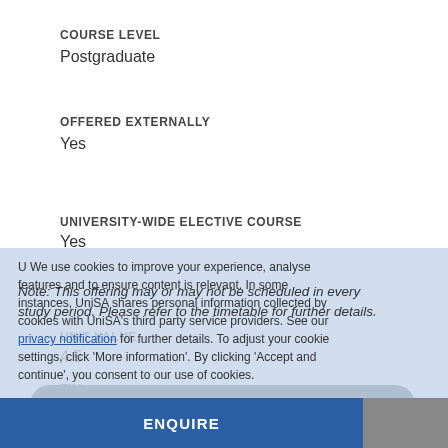COURSE LEVEL
Postgraduate
OFFERED EXTERNALLY
Yes
Note: This offering may or may not be scheduled in every study period. Please refer to the timetable for further details.
COURSE ID
OO7468
UNIT VALUE
4.5
UNIVERSITY-WIDE ELECTIVE COURSE
Yes
TIM